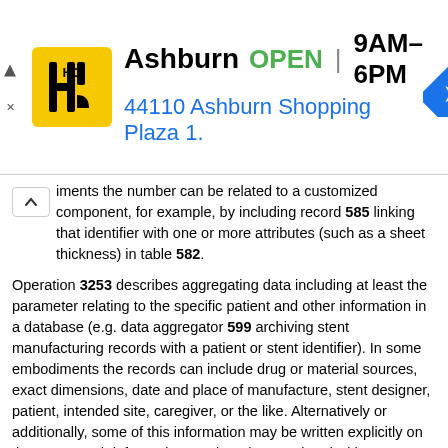[Figure (screenshot): Ad banner for Ashburn hardware store showing logo, OPEN status, hours 9AM–6PM, address 44110 Ashburn Shopping Plaza 1., and a navigation arrow icon]
iments the number can be related to a customized component, for example, by including record 585 linking that identifier with one or more attributes (such as a sheet thickness) in table 582.
Operation 3253 describes aggregating data including at least the parameter relating to the specific patient and other information in a database (e.g. data aggregator 599 archiving stent manufacturing records with a patient or stent identifier). In some embodiments the records can include drug or material sources, exact dimensions, date and place of manufacture, stent designer, patient, intended site, caregiver, or the like. Alternatively or additionally, some of this information may be written explicitly on the stent. Such information can later be correlated with stent failures, for example.
Operation 3259 describes recording an identifier of the stent with the parameter relating to the specific patient (e.g. storage manager 591 recording a custom stent serial number or specification in medical history 593). In some embodiments the medical history 593 can further indicate a custom stent order date, a stent shipment date, or other contemporaneous patient information including the parameter(s) affecting customization.